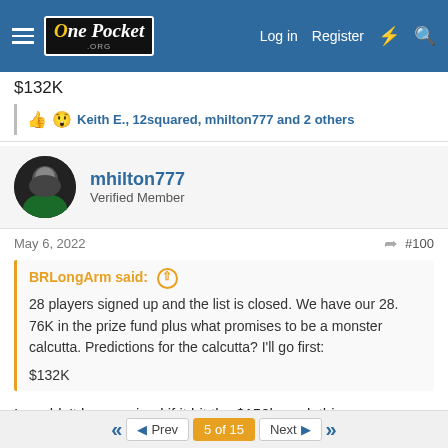OnePocket.org — Log in | Register
$132K
Keith E., 12squared, mhilton777 and 2 others
mhilton777
Verified Member
May 6, 2022  #100
BRLongArm said:
28 players signed up and the list is closed. We have our 28. 76K in the prize fund plus what promises to be a monster calcutta. Predictions for the calcutta? I'll go first:
$132K
I wouldn't be surprised if it hit the $150k mark this year.
Prev  5 of 15  Next